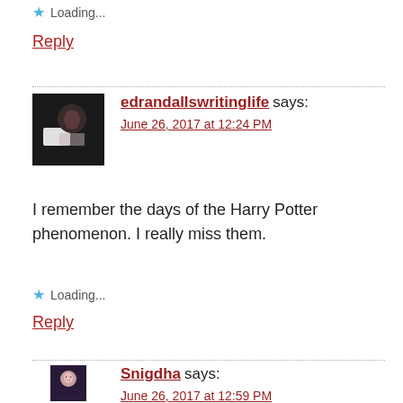Loading...
Reply
edrandallswritinglife says:
June 26, 2017 at 12:24 PM
I remember the days of the Harry Potter phenomenon. I really miss them.
Loading...
Reply
Snigdha says:
June 26, 2017 at 12:59 PM